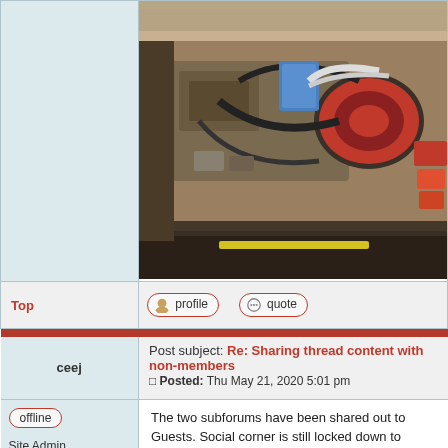[Figure (photo): Car engine compartment photo showing engine bay with red air filter cover and various engine components]
Top
profile   quote
Post subject: Re: Sharing thread content with non-members
Posted: Thu May 21, 2020 5:01 pm
ceej
offline
Site Admin
[Figure (illustration): State of Oregon flag - blue background with yellow state seal, text STATE OF OREGON 1859]
The two subforums have been shared out to Guests. Social corner is still locked down to members only.

CJ